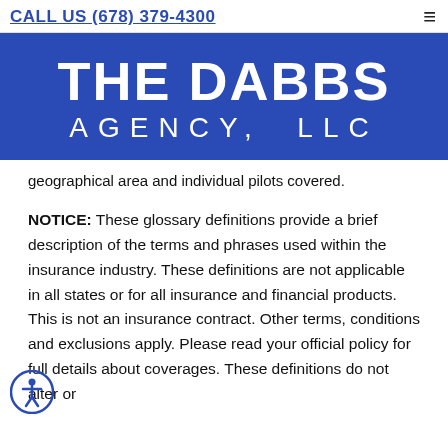CALL US (678) 379-4300
[Figure (logo): The Dabbs Agency, LLC logo — white text on blue background]
geographical area and individual pilots covered.
NOTICE: These glossary definitions provide a brief description of the terms and phrases used within the insurance industry. These definitions are not applicable in all states or for all insurance and financial products. This is not an insurance contract. Other terms, conditions and exclusions apply. Please read your official policy for full details about coverages. These definitions do not alter or